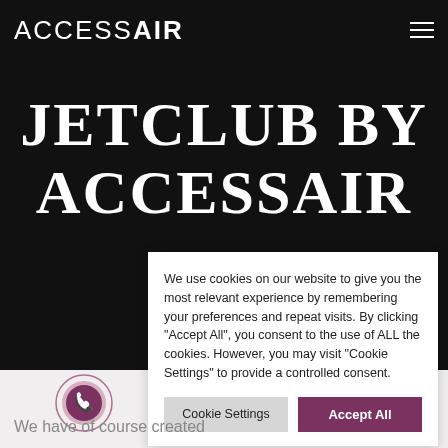ACCESSAIR
JETCLUB BY ACCESSAIR
We use cookies on our website to give you the most relevant experience by remembering your preferences and repeat visits. By clicking "Accept All", you consent to the use of ALL the cookies. However, you may visit "Cookie Settings" to provide a controlled consent.
Cookie Settings  Accept All
We have of course created